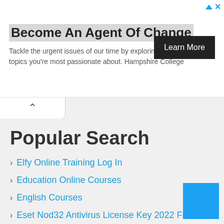[Figure (other): Advertisement banner for Hampshire College with 'Become An Agent Of Change' headline and 'Learn More' button]
Popular Search
Elfy Online Training Log In
Education Online Courses
English Courses
Eset Nod32 Antivirus License Key 2022 Free
Environmental Management Courses